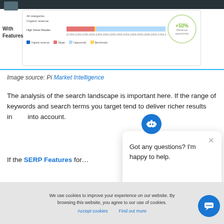[Figure (screenshot): Dashboard screenshot showing 'With Features' label, organic revenue bar chart for High Street Retailer with blue, red, and yellow bars, +50% Revenue opportunity badge, and legend for Organic revenue, Target, Opportunity, and Benchmark]
Image source: Pi Market Intelligence
The analysis of the search landscape is important here. If the range of keywords and search terms you target tend to deliver richer results in… into account.
If the SERP Features for…
[Figure (screenshot): Chatbot popup with robot icon and message: Got any questions? I'm happy to help.]
We use cookies to improve your experience on our website. By browsing this website, you agree to our use of cookies.
Accept cookies   Find out more